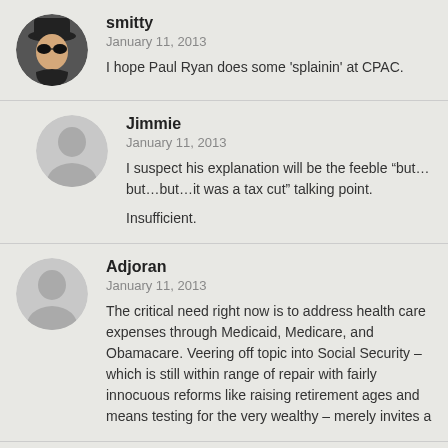smitty
January 11, 2013
I hope Paul Ryan does some ‘splainin’ at CPAC.
Jimmie
January 11, 2013
I suspect his explanation will be the feeble “but…but…but…it was a tax cut” talking point.
Insufficient.
Adjoran
January 11, 2013
The critical need right now is to address health care expenses through Medicaid, Medicare, and Obamacare. Veering off topic into Social Security – which is still within range of repair with fairly innocuous reforms like raising retirement ages and means testing for the very wealthy – merely invites a